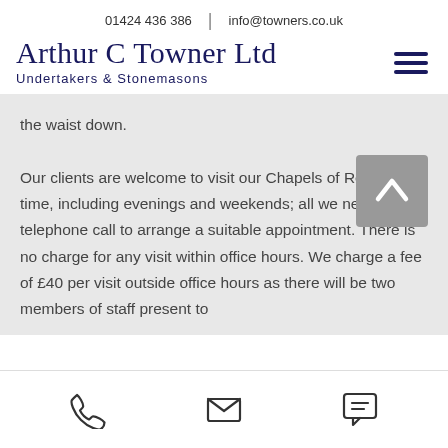01424 436 386  |  info@towners.co.uk
Arthur C Towner Ltd
Undertakers & Stonemasons
the waist down.

Our clients are welcome to visit our Chapels of Rest at any time, including evenings and weekends; all we need is a telephone call to arrange a suitable appointment. There is no charge for any visit within office hours. We charge a fee of £40 per visit outside office hours as there will be two members of staff present to
[phone icon] [email icon] [message icon]